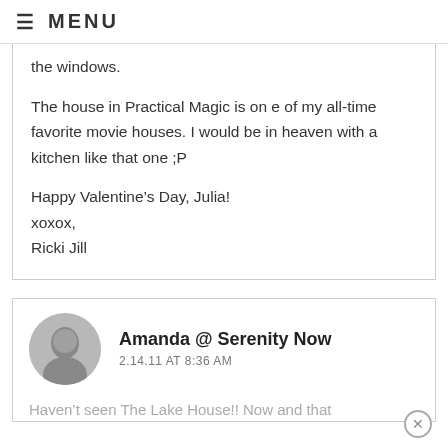≡ MENU
the windows.
The house in Practical Magic is on e of my all-time favorite movie houses. I would be in heaven with a kitchen like that one ;P
Happy Valentine's Day, Julia!
xoxox,
Ricki Jill
Amanda @ Serenity Now
2.14.11 AT 8:36 AM
Haven't seen The Lake House!! Now and that